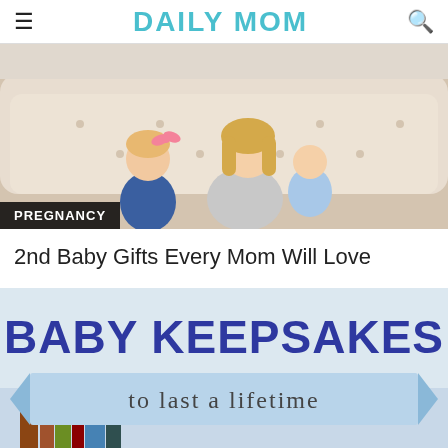DAILY MOM
[Figure (photo): Mother sitting on a cream tufted sofa with a young girl with pink bow and a baby in her arms]
PREGNANCY
2nd Baby Gifts Every Mom Will Love
[Figure (illustration): Promotional image with text BABY KEEPSAKES to last a lifetime on a light blue banner, with books in background]